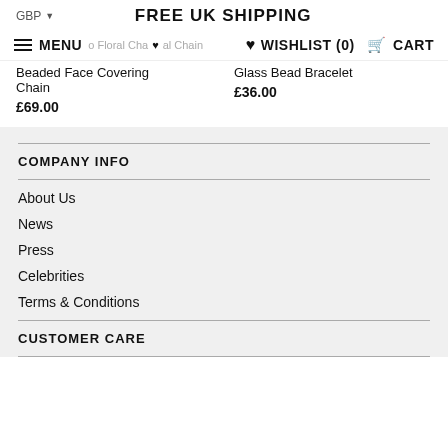GBP ▼   FREE UK SHIPPING
MENU  Floral Cha…  ♥ WISHLIST (0)  al Chain  CART
Beaded Face Covering
Chain
£69.00
Glass Bead Bracelet
£36.00
COMPANY INFO
About Us
News
Press
Celebrities
Terms & Conditions
CUSTOMER CARE